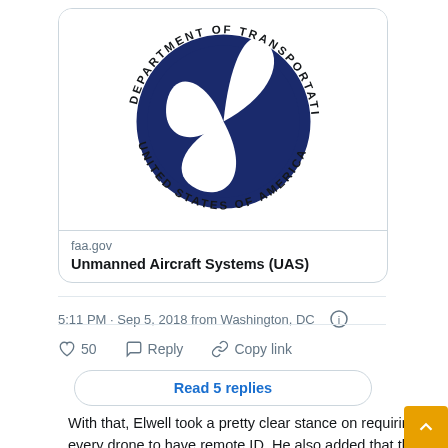[Figure (logo): US Department of Transportation seal - circular blue seal with three white curved swoosh shapes, text reading DEPARTMENT OF TRANSPORTATION UNITED STATES OF AMERICA around the border]
faa.gov
Unmanned Aircraft Systems (UAS)
5:11 PM · Sep 5, 2018 from Washington, DC
50   Reply   Copy link
Read 5 replies
With that, Elwell took a pretty clear stance on requiring every drone to have remote ID. He also added that the FAA is currently held back by established law on model aircraft, which